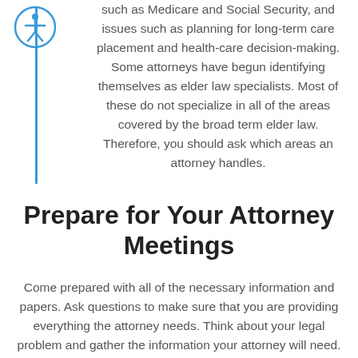such as Medicare and Social Security, and issues such as planning for long-term care placement and health-care decision-making. Some attorneys have begun identifying themselves as elder law specialists. Most of these do not specialize in all of the areas covered by the broad term elder law. Therefore, you should ask which areas an attorney handles.
Prepare for Your Attorney Meetings
Come prepared with all of the necessary information and papers. Ask questions to make sure that you are providing everything the attorney needs. Think about your legal problem and gather the information your attorney will need. Write down the names, addresses, and phone numbers of other people involved in the case. Write down the important